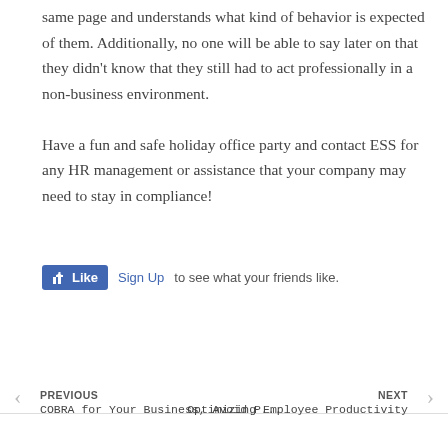same page and understands what kind of behavior is expected of them. Additionally, no one will be able to say later on that they didn't know that they still had to act professionally in a non-business environment.
Have a fun and safe holiday office party and contact ESS for any HR management or assistance that your company may need to stay in compliance!
[Figure (other): Facebook Like button widget with Sign Up link and tagline 'to see what your friends like.']
PREVIOUS | COBRA for Your Business, Avoid P... | NEXT | Optimizing Employee Productivity